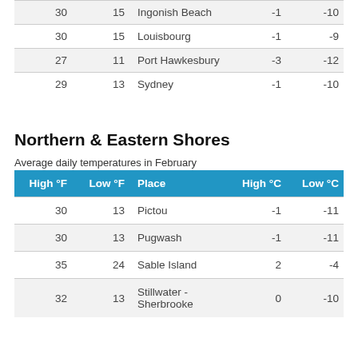| High °F | Low °F | Place | High °C | Low °C |
| --- | --- | --- | --- | --- |
| 30 | 15 | Ingonish Beach | -1 | -10 |
| 30 | 15 | Louisbourg | -1 | -9 |
| 27 | 11 | Port Hawkesbury | -3 | -12 |
| 29 | 13 | Sydney | -1 | -10 |
Northern & Eastern Shores
Average daily temperatures in February
| High °F | Low °F | Place | High °C | Low °C |
| --- | --- | --- | --- | --- |
| 30 | 13 | Pictou | -1 | -11 |
| 30 | 13 | Pugwash | -1 | -11 |
| 35 | 24 | Sable Island | 2 | -4 |
| 32 | 13 | Stillwater - Sherbrooke | 0 | -10 |